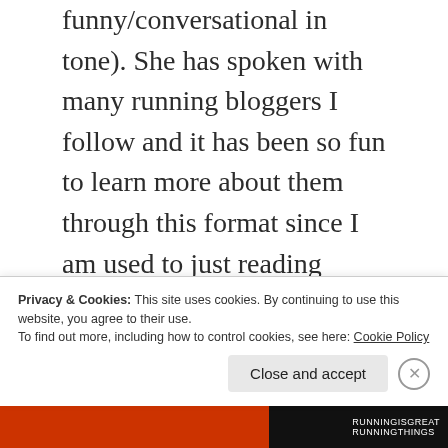funny/conversational in tone). She has spoken with many running bloggers I follow and it has been so fun to learn more about them through this format since I am used to just reading about what they are up to on their blogs or Instagrams. I can finally put a voice to the face of these bloggers whose words I've been reading online for ages! She's also a Bachelor fan which
Privacy & Cookies: This site uses cookies. By continuing to use this website, you agree to their use. To find out more, including how to control cookies, see here: Cookie Policy
Close and accept